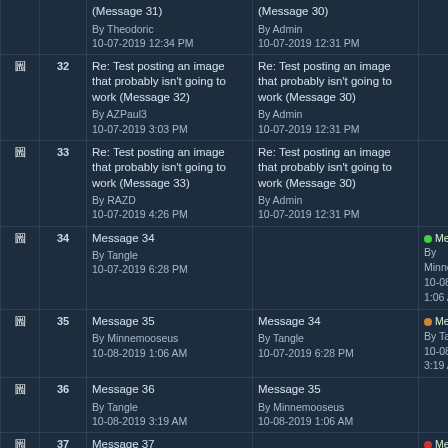|  | # | Message | Previous | Next |
| --- | --- | --- | --- | --- |
| [icon] |  | (Message 31)
By Theodoric
10-07-2019 12:34 PM | (Message 30)
By Admin
10-07-2019 12:31 PM |  |
| [icon] | 32 | Re: Test posting an image that probably isn't going to work (Message 32)
By AZPaul3
10-07-2019 3:03 PM | Re: Test posting an image that probably isn't going to work (Message 30)
By Admin
10-07-2019 12:31 PM |  |
| [icon] | 33 | Re: Test posting an image that probably isn't going to work (Message 33)
By RAZD
10-07-2019 4:26 PM | Re: Test posting an image that probably isn't going to work (Message 30)
By Admin
10-07-2019 12:31 PM |  |
| [icon] | 34 | Message 34
By Tangle
10-07-2019 6:28 PM |  | • Message 35
By Minnemooseus
10-08-2019 1:06 A… |
| [icon] | 35 | Message 35
By Minnemooseus
10-08-2019 1:06 AM | Message 34
By Tangle
10-07-2019 6:28 PM | • Message 36
By Tangle
10-08-2019 3:19 A… |
| [icon] | 36 | Message 36
By Tangle
10-08-2019 3:19 AM | Message 35
By Minnemooseus
10-08-2019 1:06 AM |  |
| [icon] | 37 | Message 37
By Percy
05-10-2022 2:25 PM |  | • Message 38
By dwise1
05-11-2022 3:20 P… |
| [icon] | 38 | Message 38
By dwise1
05-11-2022 3:20 PM | Message 37
By Percy
05-10-2022 2:25 PM |  |